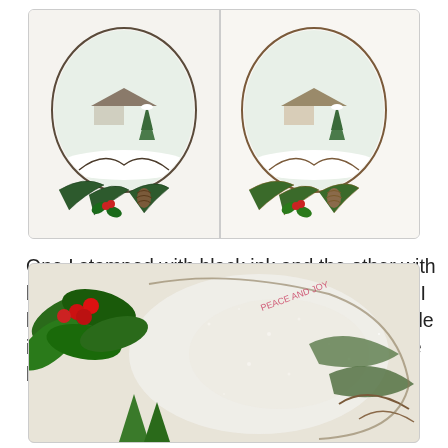[Figure (photo): Two side-by-side Christmas wreath cards with winter scenes inside oval frames, holly, pine cones, and red berries at the bottom. One stamped with black ink, one with brown ink.]
One I stamped with black ink and the other with brown ink.  My hubby liked the brown ink and I liked the black. Hoping you can see the sparkle it gives to the whole background in the picture below.
[Figure (photo): Close-up photo of a Christmas card showing holly leaves with red berries, green pine trees, glittery sparkle on white background, and partial text reading 'PEACE AND JOY' in the upper right corner.]